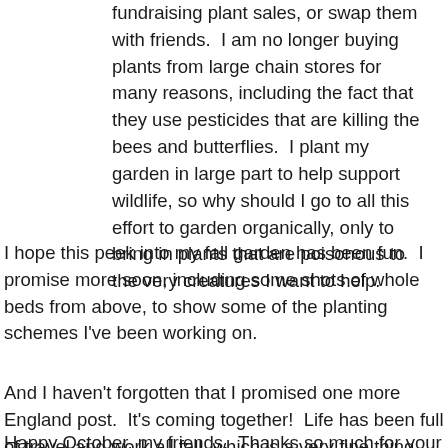fundraising plant sales, or swap them with friends.  I am no longer buying plants from large chain stores for many reasons, including the fact that they use pesticides that are killing the bees and butterflies.  I plant my garden in large part to help support wildlife, so why should I go to all this effort to garden organically, only to bring in plants that are poisonous to the very creatures I want to help.
I hope this peek into my fall garden has been fun.  I promise more soon, including some shots of whole beds from above, to show some of the planting schemes I've been working on.
And I haven't forgotten that I promised one more England post.  It's coming together!  Life has been full of travel and work all fall, which is a very fine thing, indeed.
Happy October, my friends.  Thanks so much for your visits, comments, and emails.  They truly make my day.  I apologize for not always answering emails right away.  I can't always